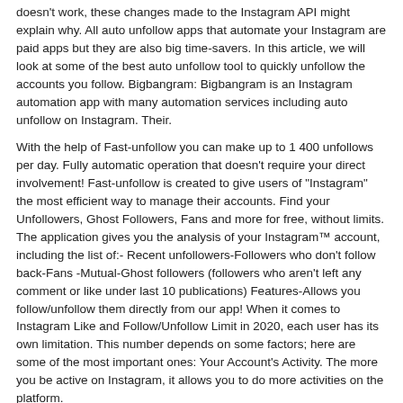doesn't work, these changes made to the Instagram API might explain why. All auto unfollow apps that automate your Instagram are paid apps but they are also big time-savers. In this article, we will look at some of the best auto unfollow tool to quickly unfollow the accounts you follow. Bigbangram: Bigbangram is an Instagram automation app with many automation services including auto unfollow on Instagram. Their.
With the help of Fast-unfollow you can make up to 1 400 unfollows per day. Fully automatic operation that doesn't require your direct involvement! Fast-unfollow is created to give users of "Instagram" the most efficient way to manage their accounts. Find your Unfollowers, Ghost Followers, Fans and more for free, without limits. The application gives you the analysis of your Instagram™ account, including the list of:- Recent unfollowers-Followers who don't follow back-Fans -Mutual-Ghost followers (followers who aren't left any comment or like under last 10 publications) Features-Allows you follow/unfollow them directly from our app! When it comes to Instagram Like and Follow/Unfollow Limit in 2020, each user has its own limitation. This number depends on some factors; here are some of the most important ones: Your Account's Activity. The more you be active on Instagram, it allows you to do more activities on the platform.